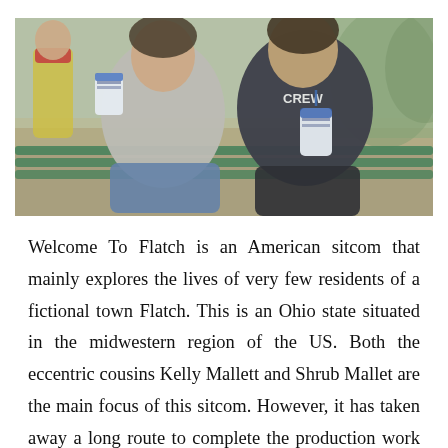[Figure (photo): Two people sitting on a green park bench outdoors, each holding a large Sonic-style drink cup. One person wears a gray patterned jacket and jeans, the other wears a dark hoodie with 'CREW' text and black pants. Background shows trees and a person in a yellow safety vest.]
Welcome To Flatch is an American sitcom that mainly explores the lives of very few residents of a fictional town Flatch. This is an Ohio state situated in the midwestern region of the US. Both the eccentric cousins Kelly Mallett and Shrub Mallet are the main focus of this sitcom. However, it has taken away a long route to complete the production work affected by the COVID-19 pandemic in 2020. The sitcom completed the works by 2021 and aired in 2022. This American show which has